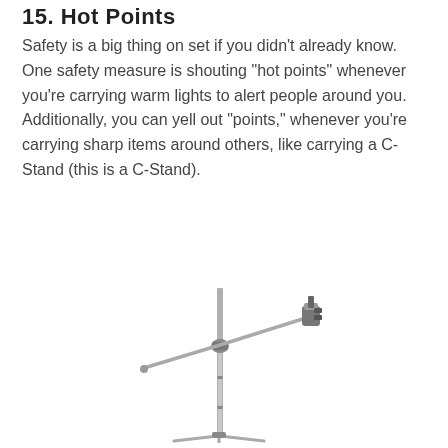15. Hot Points
Safety is a big thing on set if you didn't already know. One safety measure is shouting "hot points" whenever you're carrying warm lights to alert people around you. Additionally, you can yell out "points," whenever you're carrying sharp items around others, like carrying a C-Stand (this is a C-Stand).
[Figure (photo): A C-Stand (Century Stand) with a telescoping vertical pole, a horizontal boom arm with a knuckle joint, and a grip head/clamp at the end of the boom arm. The stand is metallic/chrome colored against a white background.]